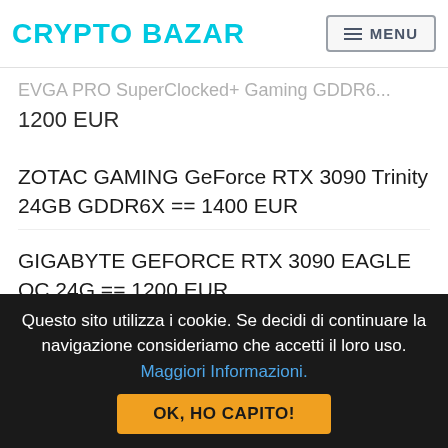CRYPTO BAZAR — MENU
1200 EUR
ZOTAC GAMING GeForce RTX 3090 Trinity 24GB GDDR6X == 1400 EUR
GIGABYTE GEFORCE RTX 3090 EAGLE OC 24G == 1200 EUR
EVGA GEFORCE RTX 3090 FTW3 24GB Graphic Card...
Questo sito utilizza i cookie. Se decidi di continuare la navigazione consideriamo che accetti il loro uso. Maggiori Informazioni.
OK, HO CAPITO!